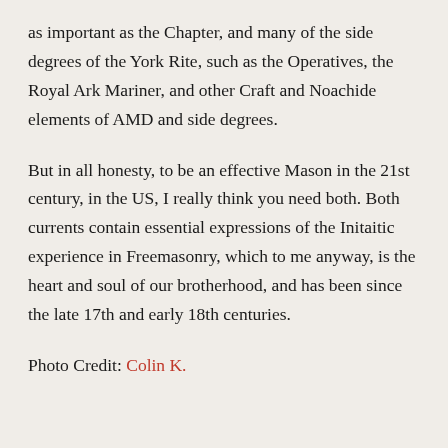as important as the Chapter, and many of the side degrees of the York Rite, such as the Operatives, the Royal Ark Mariner, and other Craft and Noachide elements of AMD and side degrees.
But in all honesty, to be an effective Mason in the 21st century, in the US, I really think you need both. Both currents contain essential expressions of the Initaitic experience in Freemasonry, which to me anyway, is the heart and soul of our brotherhood, and has been since the late 17th and early 18th centuries.
Photo Credit: Colin K.